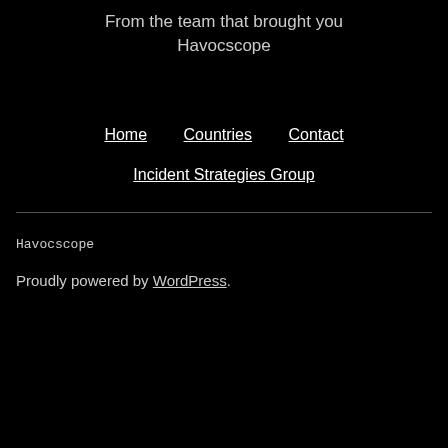From the team that brought you Havocscope
Home    Countries    Contact
Incident Strategies Group
Havocscope
Proudly powered by WordPress.